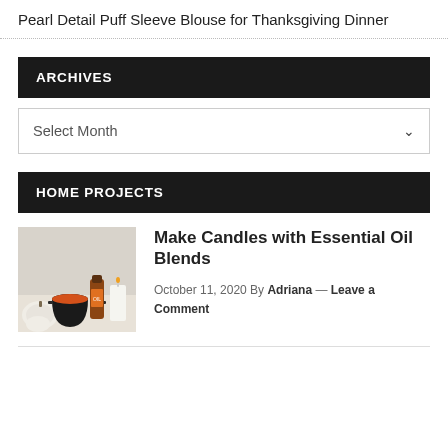Pearl Detail Puff Sleeve Blouse for Thanksgiving Dinner
ARCHIVES
Select Month
HOME PROJECTS
[Figure (photo): Photo of candle-making supplies including a black cauldron-style wax warmer, brown glass essential oil bottle, white candle, and white pumpkins on a light background.]
Make Candles with Essential Oil Blends
October 11, 2020 By Adriana — Leave a Comment